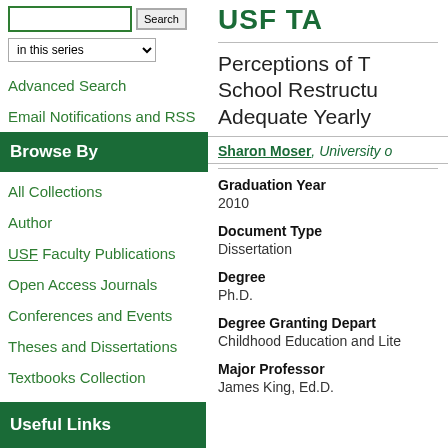in this series (dropdown)
Advanced Search
Email Notifications and RSS
Browse By
All Collections
Author
USF Faculty Publications
Open Access Journals
Conferences and Events
Theses and Dissertations
Textbooks Collection
Useful Links
USF TA
Perceptions of T School Restructu Adequate Yearly
Sharon Moser, University o
Graduation Year
2010
Document Type
Dissertation
Degree
Ph.D.
Degree Granting Depart
Childhood Education and Lite
Major Professor
James King, Ed.D.